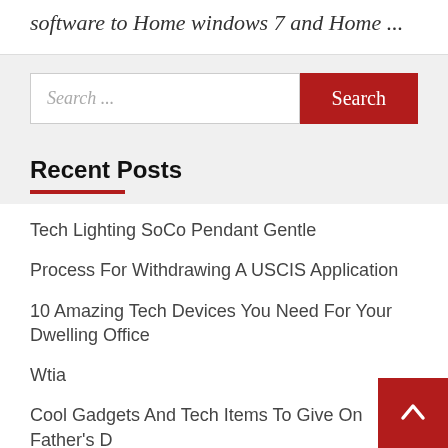software to Home windows 7 and Home ...
Search ...
Recent Posts
Tech Lighting SoCo Pendant Gentle
Process For Withdrawing A USCIS Application
10 Amazing Tech Devices You Need For Your Dwelling Office
Wtia
Cool Gadgets And Tech Items To Give On Father's D